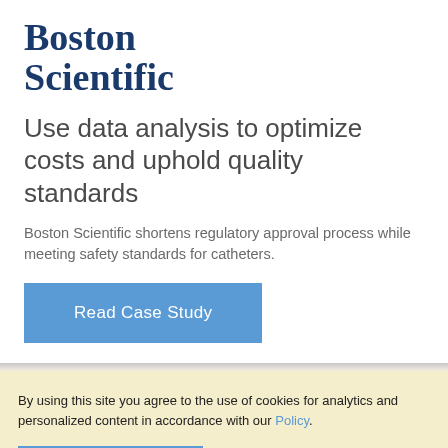[Figure (logo): Boston Scientific logo in dark navy blue serif font]
Use data analysis to optimize costs and uphold quality standards
Boston Scientific shortens regulatory approval process while meeting safety standards for catheters.
Read Case Study
By using this site you agree to the use of cookies for analytics and personalized content in accordance with our Policy.
OK